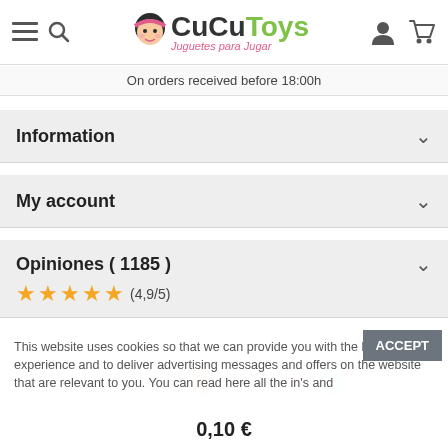[Figure (logo): CuCuToys logo with cartoon girl face, text 'CuCuToys' and subtitle 'Juguetes para Jugar']
On orders received before 18:00h
Information
My account
Opiniones ( 1185 )
★★★★☆ (4,9/5)
This website uses cookies so that we can provide you with the best user experience and to deliver advertising messages and offers on the website that are relevant to you. You can read here all the in's and
0,10 €